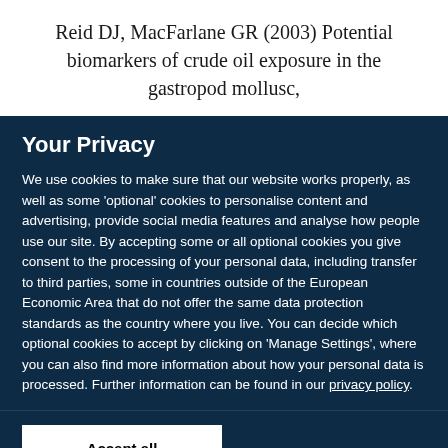Reid DJ, MacFarlane GR (2003) Potential biomarkers of crude oil exposure in the gastropod mollusc,
Your Privacy
We use cookies to make sure that our website works properly, as well as some 'optional' cookies to personalise content and advertising, provide social media features and analyse how people use our site. By accepting some or all optional cookies you give consent to the processing of your personal data, including transfer to third parties, some in countries outside of the European Economic Area that do not offer the same data protection standards as the country where you live. You can decide which optional cookies to accept by clicking on 'Manage Settings', where you can also find more information about how your personal data is processed. Further information can be found in our privacy policy.
Accept all cookies
Manage preferences